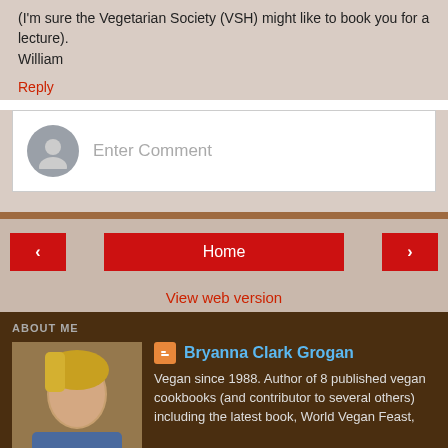(I'm sure the Vegetarian Society (VSH) might like to book you for a lecture).
William
Reply
Enter Comment
Home
View web version
ABOUT ME
Bryanna Clark Grogan
Vegan since 1988. Author of 8 published vegan cookbooks (and contributor to several others) including the latest book, World Vegan Feast, published in August 2011 (Vegan Heritage Press). Bellydancing mother of 4, stepmother of 2, grandmother of 5 girls and 2 boys